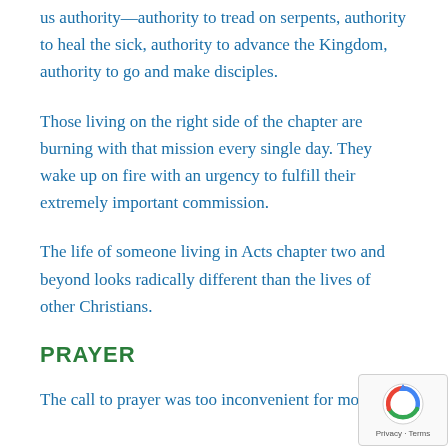us authority—authority to tread on serpents, authority to heal the sick, authority to advance the Kingdom, authority to go and make disciples.
Those living on the right side of the chapter are burning with that mission every single day. They wake up on fire with an urgency to fulfill their extremely important commission.
The life of someone living in Acts chapter two and beyond looks radically different than the lives of other Christians.
PRAYER
The call to prayer was too inconvenient for most